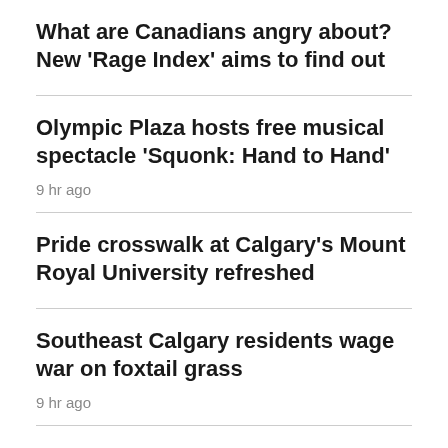What are Canadians angry about? New 'Rage Index' aims to find out
Olympic Plaza hosts free musical spectacle 'Squonk: Hand to Hand'
9 hr ago
Pride crosswalk at Calgary's Mount Royal University refreshed
Southeast Calgary residents wage war on foxtail grass
9 hr ago
RCMP investigating harassment of Chrystia Freeland, it'll...